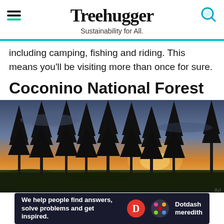Treehugger - Sustainability for All.
including camping, fishing and riding. This means you'll be visiting more than once for sure.
Coconino National Forest
[Figure (photo): Photo of tall pine trees silhouetted against a dramatic sunset sky with orange and blue hues, in a forest with low shrubs on the ground.]
Ad | We help people find answers, solve problems and get inspired. Dotdash meredith